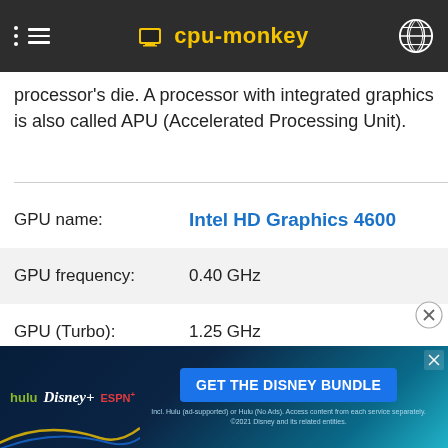cpu-monkey
processor's die. A processor with integrated graphics is also called APU (Accelerated Processing Unit).
| Property | Value |
| --- | --- |
| GPU name: | Intel HD Graphics 4600 |
| GPU frequency: | 0.40 GHz |
| GPU (Turbo): | 1.25 GHz |
| Execution units: | 20 |
| Shader: | 160 |
[Figure (screenshot): Disney Bundle advertisement banner with Hulu, Disney+, ESPN+ logos and 'GET THE DISNEY BUNDLE' call to action button]